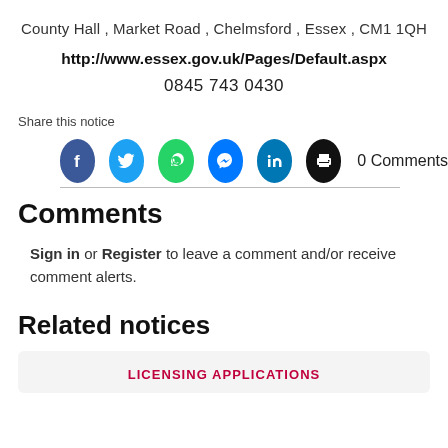County Hall , Market Road , Chelmsford , Essex , CM1 1QH
http://www.essex.gov.uk/Pages/Default.aspx
0845 743 0430
Share this notice
[Figure (infographic): Social sharing icons: Facebook, Twitter, WhatsApp, Messenger, LinkedIn, Print; followed by '0 Comments' text]
Comments
Sign in or Register to leave a comment and/or receive comment alerts.
Related notices
LICENSING APPLICATIONS